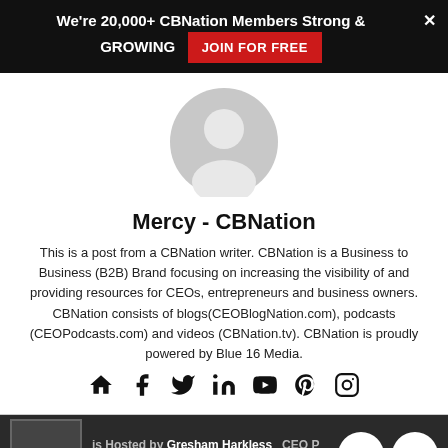We're 20,000+ CBNation Members Strong & GROWING  JOIN FOR FREE
[Figure (illustration): Default gray user avatar circle with person silhouette]
Mercy - CBNation
This is a post from a CBNation writer. CBNation is a Business to Business (B2B) Brand focusing on increasing the visibility of and providing resources for CEOs, entrepreneurs and business owners. CBNation consists of blogs(CEOBlogNation.com), podcasts (CEOPodcasts.com) and videos (CBNation.tv). CBNation is proudly powered by Blue 16 Media.
[Figure (infographic): Row of social media icons: home, facebook, twitter, linkedin, youtube, pinterest, instagram]
is Hosted by Gresham Harkless  CEO P  Freelancing: Embracing an Entrepr